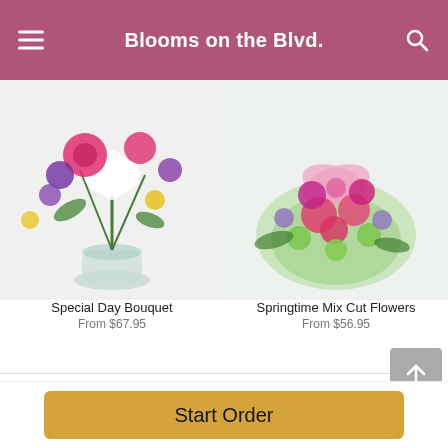Blooms on the Blvd.
[Figure (photo): Special Day Bouquet - colorful flower arrangement in a glass vase with pink roses, white lilies, purple flowers, and yellow blooms]
Special Day Bouquet
From $67.95
[Figure (photo): Springtime Mix Cut Flowers - bouquet with pink carnations, green button mums, purple flowers wrapped in green netting with a pink bow]
Springtime Mix Cut Flowers
From $56.95
POWERED BY
Start Order